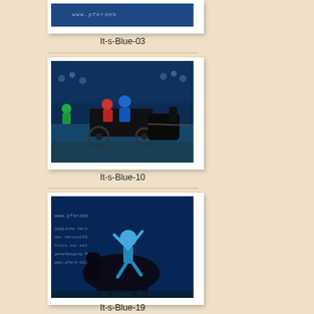[Figure (photo): Top portion of a photo card showing a partial image with www.pferdebild.de watermark text, blue tones]
It-s-Blue-03
[Figure (photo): Horse-drawn carriage with riders in a show arena, blue lighting, audience in background, equestrian event]
It-s-Blue-10
[Figure (photo): Acrobat or gymnast on horseback at equestrian show, blue tones, watermark text visible: www.pferdebild.de, jegliche Veröffentlichung, der Vervielfältigung der, Fotos nur mit unserer, genehmigung Möhstar, www.pferd-bild.de]
It-s-Blue-19